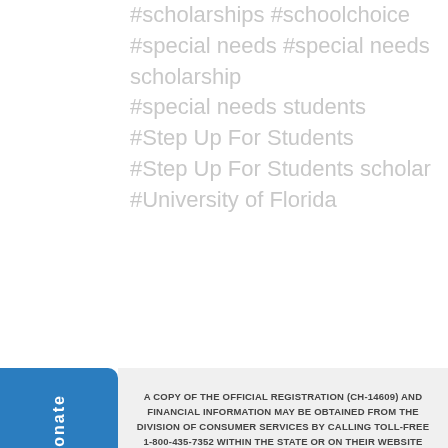#scholarships  #schoolchoice
#special needs  #special needs scholarship
#special needs students
#Step Up For Students
#Step Up For Students scholar
#University of Florida
A COPY OF THE OFFICIAL REGISTRATION (CH-14609) AND FINANCIAL INFORMATION MAY BE OBTAINED FROM THE DIVISION OF CONSUMER SERVICES BY CALLING TOLL-FREE 1-800-435-7352 WITHIN THE STATE OR ON THEIR WEBSITE WWW.800HELPFLA.COM. REGISTRATION DOES NOT IMPLY ENDORSEMENT, APPROVAL, OR RECOMMENDATION BY THE STATE.
Privacy Policy / Disclaimer
© 2020 by Step Up For Students.